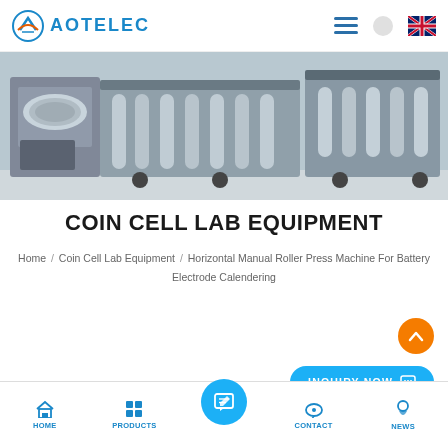AOTELEC
[Figure (photo): Industrial battery electrode calendering machinery with multiple rollers and press equipment in a factory setting]
COIN CELL LAB EQUIPMENT
Home / Coin Cell Lab Equipment / Horizontal Manual Roller Press Machine For Battery Electrode Calendering
HOME  PRODUCTS  CONTACT  NEWS